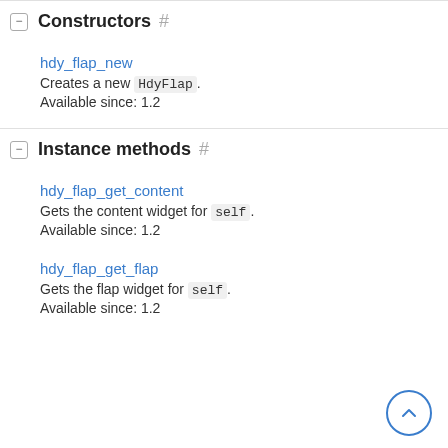Constructors #
hdy_flap_new
Creates a new HdyFlap.
Available since: 1.2
Instance methods #
hdy_flap_get_content
Gets the content widget for self.
Available since: 1.2
hdy_flap_get_flap
Gets the flap widget for self.
Available since: 1.2